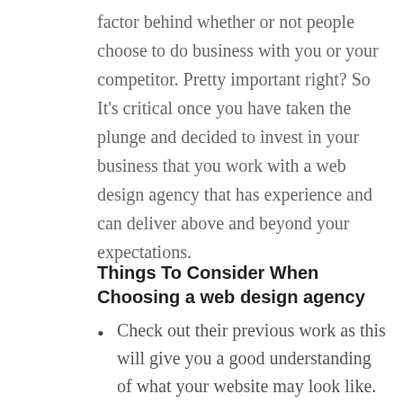factor behind whether or not people choose to do business with you or your competitor. Pretty important right? So It's critical once you have taken the plunge and decided to invest in your business that you work with a web design agency that has experience and can deliver above and beyond your expectations.
Things To Consider When Choosing a web design agency
Check out their previous work as this will give you a good understanding of what your website may look like.
Check to see if they have relevant industry experience. Have they built websites for other companies in the same industry as